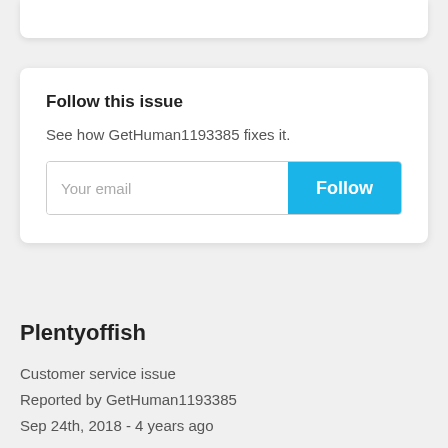[Figure (screenshot): Partial top card cut off at top of page]
Follow this issue
See how GetHuman1193385 fixes it.
[Figure (screenshot): Email input field with placeholder 'Your email' and a blue Follow button]
Plentyoffish
Customer service issue
Reported by GetHuman1193385
Sep 24th, 2018 - 4 years ago
I have an issue with Plentyoffish too